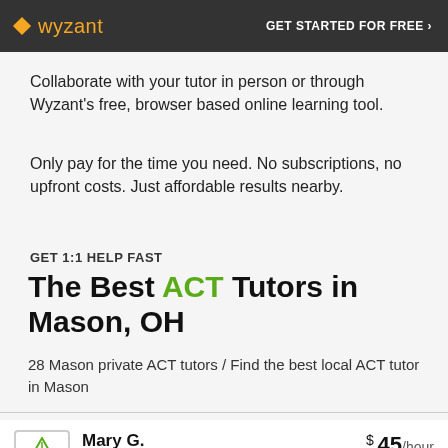wyzant  GET STARTED FOR FREE ›
Collaborate with your tutor in person or through Wyzant's free, browser based online learning tool.
Only pay for the time you need. No subscriptions, no upfront costs. Just affordable results nearby.
GET 1:1 HELP FAST
The Best ACT Tutors in Mason, OH
28 Mason private ACT tutors / Find the best local ACT tutor in Mason
Mary G.  Mason, OH  $ 45/hour